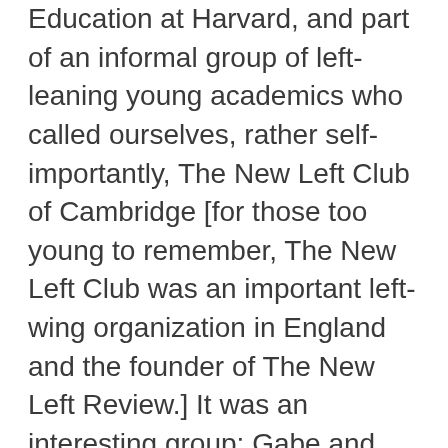Education at Harvard, and part of an informal group of left-leaning young academics who called ourselves, rather self-importantly, The New Left Club of Cambridge [for those too young to remember, The New Left Club was an important left-wing organization in England and the founder of The New Left Review.] It was an interesting group: Gabe and Joyce Kolko, who went on to do really interesting writing on the left [it is worth looking up Gabe Kolko's early book, Wealth and Power in America.]; Michael Walzer, a political theorist who taught Government for many years at Harvard before relocating to the Princeton Institute for Advanced Study; Gordon Feldman, Nadav Safran, even, believe it or not, Stephen and Abigail Thernstrom, later to become